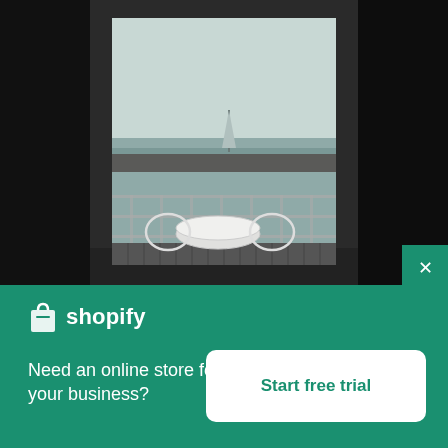[Figure (photo): View through a dark-framed window of a balcony with a round white table and white chairs, overlooking a grey-blue sea with a breakwater and a sailboat in the distance under an overcast sky.]
×
[Figure (logo): Shopify logo: white shopping bag icon with 'shopify' text in white]
Need an online store for your business?
Start free trial